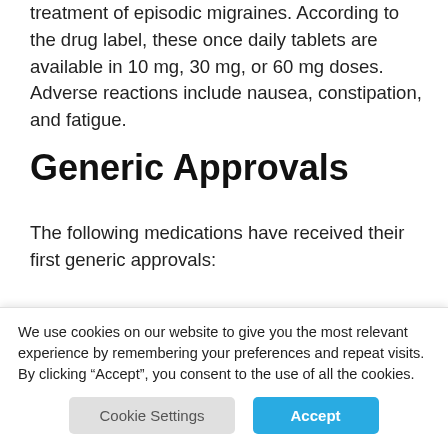treatment of episodic migraines. According to the drug label, these once daily tablets are available in 10 mg, 30 mg, or 60 mg doses. Adverse reactions include nausea, constipation, and fatigue.
Generic Approvals
The following medications have received their first generic approvals:
Belbuca (buprenorphine) buccal film for the management of pain severe enough to require
We use cookies on our website to give you the most relevant experience by remembering your preferences and repeat visits. By clicking “Accept”, you consent to the use of all the cookies.